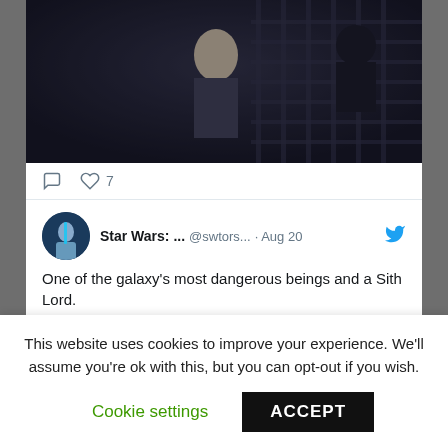[Figure (photo): Screenshot of a Twitter/social media feed showing a Star Wars scene at the top (dark figures in what appears to be a space station) with interaction icons (comment and heart with count 7) below it, followed by a tweet from 'Star Wars: ...' (@swtors...) dated Aug 20 saying 'One of the galaxy's most dangerous beings and a Sith Lord.' with an embedded meme card reading 'Sith Lords when they realize an astromech has a higher body count.' and a partial movie screenshot below it. At the bottom is a cookie consent banner reading 'This website uses cookies to improve your experience. We'll assume you're ok with this, but you can opt-out if you wish.' with 'Cookie settings' and 'ACCEPT' buttons.]
This website uses cookies to improve your experience. We'll assume you're ok with this, but you can opt-out if you wish.
Cookie settings
ACCEPT